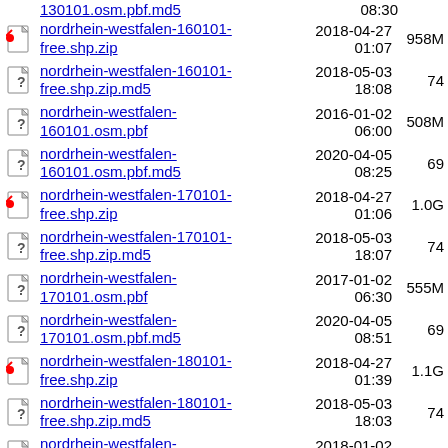130101.osm.pbf.md5  08:30
nordrhein-westfalen-160101-free.shp.zip  2018-04-27 01:07  958M
nordrhein-westfalen-160101-free.shp.zip.md5  2018-05-03 18:08  74
nordrhein-westfalen-160101.osm.pbf  2016-01-02 06:00  508M
nordrhein-westfalen-160101.osm.pbf.md5  2020-04-05 08:25  69
nordrhein-westfalen-170101-free.shp.zip  2018-04-27 01:06  1.0G
nordrhein-westfalen-170101-free.shp.zip.md5  2018-05-03 18:07  74
nordrhein-westfalen-170101.osm.pbf  2017-01-02 06:30  555M
nordrhein-westfalen-170101.osm.pbf.md5  2020-04-05 08:51  69
nordrhein-westfalen-180101-free.shp.zip  2018-04-27 01:39  1.1G
nordrhein-westfalen-180101-free.shp.zip.md5  2018-05-03 18:03  74
nordrhein-westfalen-180101.osm.pbf  2018-01-02 02:11  592M